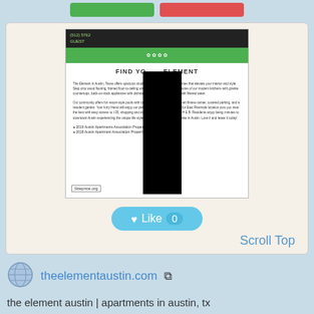[Figure (screenshot): Website screenshot of theelementaustin.com showing a dark header, green navigation bar, page title 'FIND YOUR ELEMENT', body text, bullet points, and a siteprice.org watermark with a black privacy block overlay]
Like 0
Scroll Top
theelementaustin.com
the element austin | apartments in austin, tx check for available units at the element austin in austin, tx. view floor plans, photos, and community amenities. make the element austin your new home.